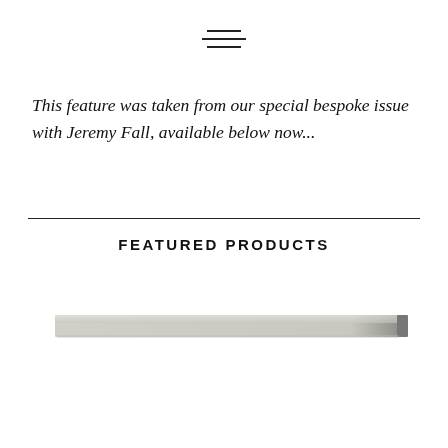[Figure (other): Hamburger menu icon — three horizontal lines of varying width centered at top]
This feature was taken from our special bespoke issue with Jeremy Fall, available below now...
FEATURED PRODUCTS
[Figure (other): A thin horizontal bar/strip product image — appears to be a flat rectangular object, light beige/cream colored]